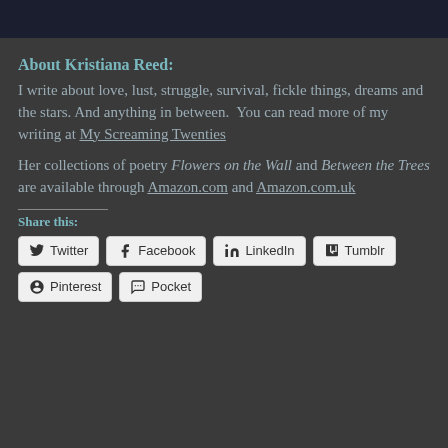[Figure (photo): Partial photo cropped at the top of the page, dark navy/black background]
About Kristiana Reed:
I write about love, lust, struggle, survival, fickle things, dreams and the stars. And anything in between.  You can read more of my writing at My Screaming Twenties
Her collections of poetry Flowers on the Wall and Between the Trees are available through Amazon.com and Amazon.com.uk
Share this:
Twitter | Facebook | LinkedIn | Tumblr | Pinterest | Pocket